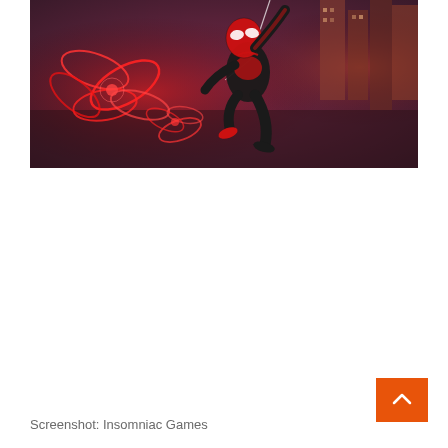[Figure (screenshot): Screenshot from Marvel's Spider-Man: Miles Morales video game by Insomniac Games. Shows Miles Morales in a black and red Spider-Man suit swinging through a nighttime city scene with glowing red neon flower decorations in the background.]
Screenshot: Insomniac Games